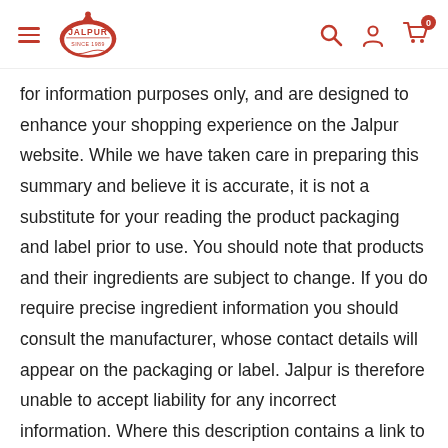Jalpur website header with logo, hamburger menu, search, account, and cart icons
for information purposes only, and are designed to enhance your shopping experience on the Jalpur website. While we have taken care in preparing this summary and believe it is accurate, it is not a substitute for your reading the product packaging and label prior to use. You should note that products and their ingredients are subject to change. If you do require precise ingredient information you should consult the manufacturer, whose contact details will appear on the packaging or label. Jalpur is therefore unable to accept liability for any incorrect information. Where this description contains a link to another party's website for further information on the product, please note that Jalpur has no control over and no liability for the contents of that website.You should